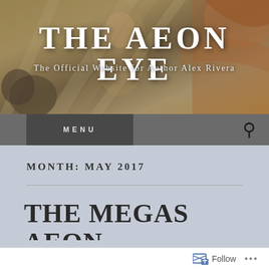[Figure (illustration): Painted background image with mythological/classical figures in golden and earth tones, showing human figures in motion]
THE AEON EYE
The Official Website for Author Alex Rivera
MENU
MONTH: MAY 2017
THE MEGAS AEON